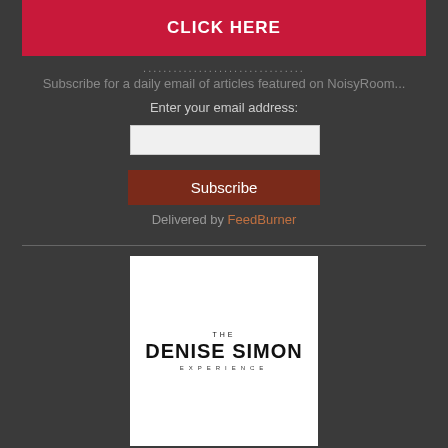[Figure (other): Red banner with CLICK HERE button]
................................
Subscribe for a daily email of articles featured on NoisyRoom...
Enter your email address:
[Figure (other): Email input field (text box)]
Subscribe
Delivered by FeedBurner
[Figure (logo): The Denise Simon Experience logo on white card background]